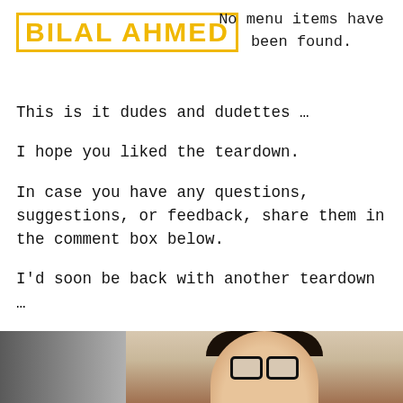BILAL AHMED
No menu items have been found.
This is it dudes and dudettes …
I hope you liked the teardown.
In case you have any questions, suggestions, or feedback, share them in the comment box below.
I'd soon be back with another teardown …
Till then …
[Figure (photo): Partial photo of a person at the bottom of the page, showing dark hair and glasses, with a grey gradient on the left side.]